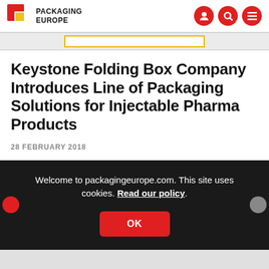PACKAGING EUROPE
Keystone Folding Box Company Introduces Line of Packaging Solutions for Injectable Pharma Products
28 FEBRUARY 2018
Welcome to packagingeurope.com. This site uses cookies. Read our policy.
OK